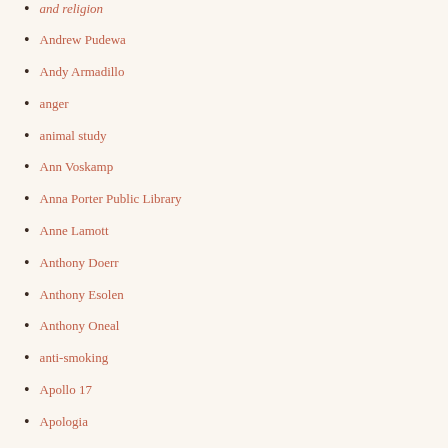and religion
Andrew Pudewa
Andy Armadillo
anger
animal study
Ann Voskamp
Anna Porter Public Library
Anne Lamott
Anthony Doerr
Anthony Esolen
Anthony Oneal
anti-smoking
Apollo 17
Apologia
Apologia Educational Ministries
Apologia Review
Apostle Paul
App Attack